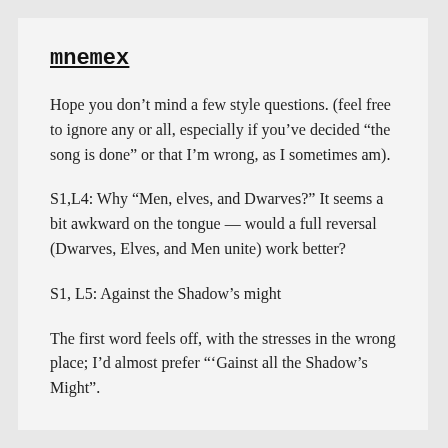mnemex
Hope you don’t mind a few style questions. (feel free to ignore any or all, especially if you’ve decided “the song is done” or that I’m wrong, as I sometimes am).
S1,L4: Why “Men, elves, and Dwarves?” It seems a bit awkward on the tongue — would a full reversal (Dwarves, Elves, and Men unite) work better?
S1, L5: Against the Shadow’s might
The first word feels off, with the stresses in the wrong place; I’d almost prefer “’Gainst all the Shadow’s Might”.